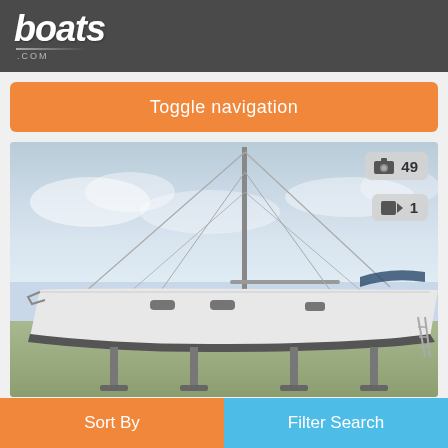boats.com
Toggle navigation
[Figure (photo): A Beneteau Oceanis 46 sailboat on dry land supported by stands, photographed from the port side. The boat has a white hull, tall mast with rigging, and is set against a cloudy sky with green fields in the background. Photo count badge showing 49 photos and 1 video overlay on the image.]
Beneteau Oceanis 46
Portsmouth, Hampshire, United Kingdom
Sort By   Filter Search